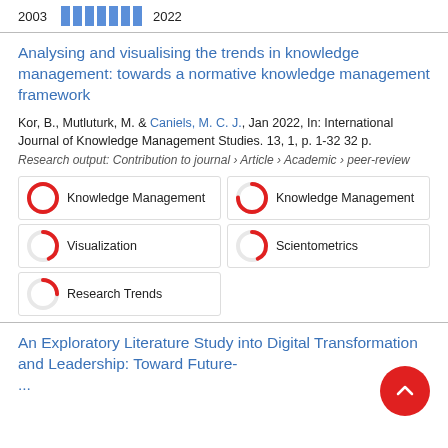[Figure (other): Year bar indicator showing 2003 and 2022 with blue bar segments between them]
Analysing and visualising the trends in knowledge management: towards a normative knowledge management framework
Kor, B., Mutluturk, M. & Caniels, M. C. J., Jan 2022, In: International Journal of Knowledge Management Studies. 13, 1, p. 1-32 32 p.
Research output: Contribution to journal › Article › Academic › peer-review
Knowledge Management (100%)
Knowledge Management (right column)
Visualization (43%)
Scientometrics (43%)
Research Trends (25%)
An Exploratory Literature Study into Digital Transformation and Leadership: Toward Future-...